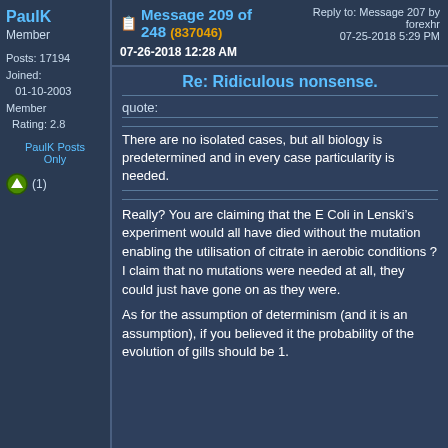PaulK
Member
Posts: 17194
Joined: 01-10-2003
Member Rating: 2.8
PaulK Posts Only
Message 209 of 248 (837046) 07-26-2018 12:28 AM | Reply to: Message 207 by forexhr 07-25-2018 5:29 PM
Re: Ridiculous nonsense.
quote:
There are no isolated cases, but all biology is predetermined and in every case particularity is needed.
Really? You are claiming that the E Coli in Lenski’s experiment would all have died without the mutation enabling the utilisation of citrate in aerobic conditions ? I claim that no mutations were needed at all, they could just have gone on as they were.
As for the assumption of determinism (and it is an assumption), if you believed it the probability of the evolution of gills should be 1.